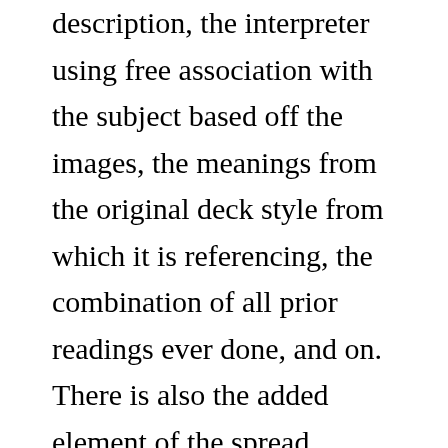description, the interpreter using free association with the subject based off the images, the meanings from the original deck style from which it is referencing, the combination of all prior readings ever done, and on. There is also the added element of the spread, making where and how the cards are placed down have its own meaning. Whether one believes in the supernatural or not, you are ultimately reading the narrative structure of the cards in front of you and weaving a story. This process is the qualitative side of